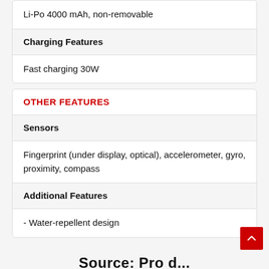Li-Po 4000 mAh, non-removable
Charging Features
Fast charging 30W
OTHER FEATURES
Sensors
Fingerprint (under display, optical), accelerometer, gyro, proximity, compass
Additional Features
- Water-repellent design